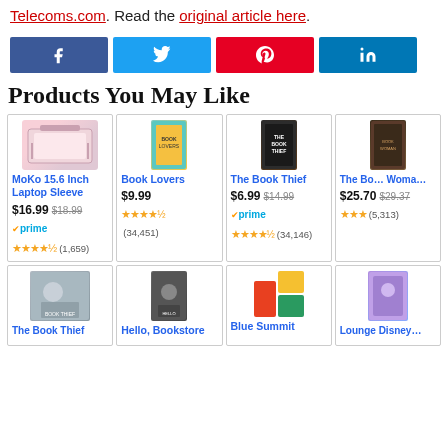Telecoms.com. Read the original article here.
[Figure (infographic): Social share buttons: Facebook, Twitter, Pinterest, LinkedIn]
Products You May Like
| Product | Price | Rating |
| --- | --- | --- |
| MoKo 15.6 Inch Laptop Sleeve | $16.99 $18.99 prime ★★★★½ (1,659) | 4.5 |
| Book Lovers | $9.99 ★★★★½ (34,451) | 4.5 |
| The Book Thief | $6.99 $14.99 prime ★★★★½ (34,146) | 4.5 |
| The Book Woman of... | $25.70 $29.37 ★★★ (5,313) | 3+ |
| The Book Thief (film) |  |  |
| Hello, Bookstore |  |  |
| Blue Summit |  |  |
| Lounge Disney... |  |  |